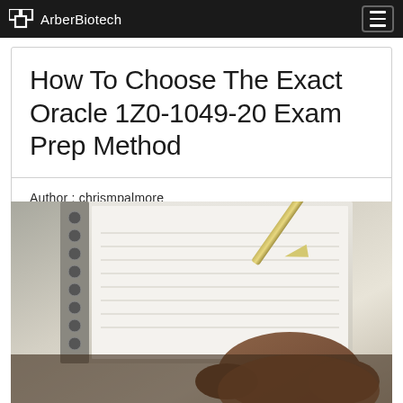ArberBiotech
How To Choose The Exact Oracle 1Z0-1049-20 Exam Prep Method
Author : chrismpalmore
Publish Date : 2021-08-05 13:41:43
[Figure (photo): Close-up photo of a person's hand writing in a spiral-bound notebook with a pen, blurred background]